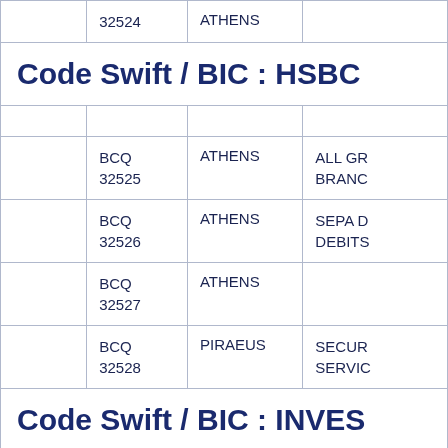|  | Code | City | Description |
| --- | --- | --- | --- |
|  | BCQ 32524 | ATHENS |  |
| Code Swift / BIC : HSBC |  |  |  |
|  | BCQ 32525 | ATHENS | ALL GR BRANC |
|  | BCQ 32526 | ATHENS | SEPA D DEBITS |
|  | BCQ 32527 | ATHENS |  |
|  | BCQ 32528 | PIRAEUS | SECUR SERVIC |
| Code Swift / BIC : INVES |  |  |  |